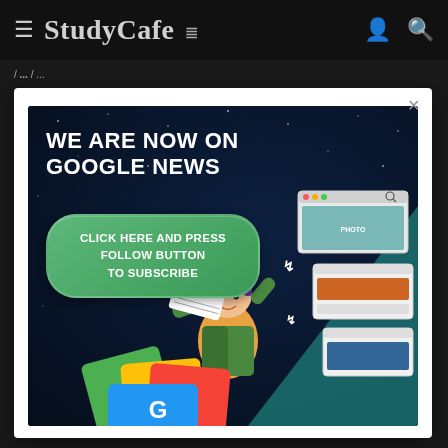≡ StudyCafe  👤 🔍
/ ... / ...
[Figure (screenshot): Popup modal on StudyCafe website showing a Google News subscription banner. Dark navy/space background with text 'WE ARE NOW ON GOOGLE NEWS' in large white bold letters, a green rounded button saying 'CLICK HERE AND PRESS FOLLOW BUTTON TO SUBSCRIBE', an illustrated character holding a 'BREAKING NEWS' newspaper with browser windows in the background, and Google News logo cards at the bottom. A close (×) button is in the top-right corner of the modal.]